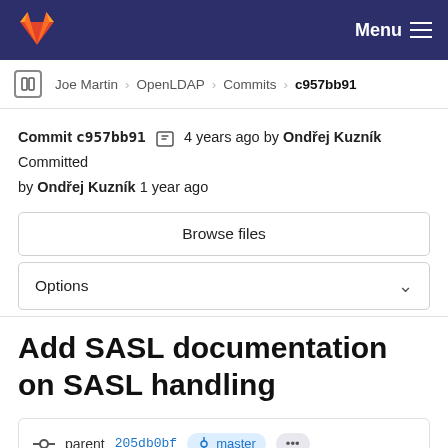GitLab navigation bar with Menu
Joe Martin > OpenLDAP > Commits > c957bb91
Commit c957bb91  4 years ago by Ondřej Kuzník Committed by Ondřej Kuzník 1 year ago
Browse files
Options
Add SASL documentation on SASL handling
parent 205db0bf  master  ...